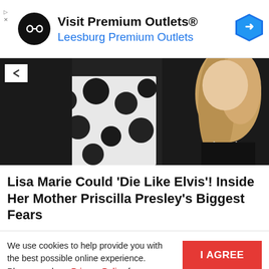[Figure (infographic): Advertisement banner for Visit Premium Outlets® / Leesburg Premium Outlets with logo and navigation icon]
[Figure (photo): Cropped photo of two women, one wearing black with polka-dot pattern and one in black with long blonde hair and pearl necklace]
Lisa Marie Could 'Die Like Elvis'! Inside Her Mother Priscilla Presley's Biggest Fears
We use cookies to help provide you with the best possible online experience. Please read our Privacy Policy for information about which cookies we use and what information we collect on our site. By continuing to use this site, you agree that we may store and access cookies on your device.